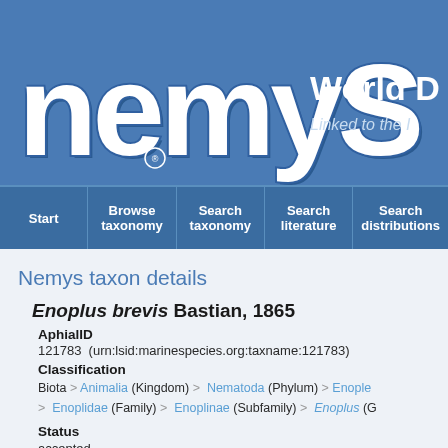[Figure (logo): Nemys logo with large stylized white text on blue background with 'World D' and 'Linked to the I' text on the right]
Start | Browse taxonomy | Search taxonomy | Search literature | Search distributions
Nemys taxon details
Enoplus brevis Bastian, 1865
AphialID
121783  (urn:lsid:marinespecies.org:taxname:121783)
Classification
Biota > Animalia (Kingdom) > Nematoda (Phylum) > Enople > Enoplidae (Family) > Enoplinae (Subfamily) > Enoplus (G
Status
accepted